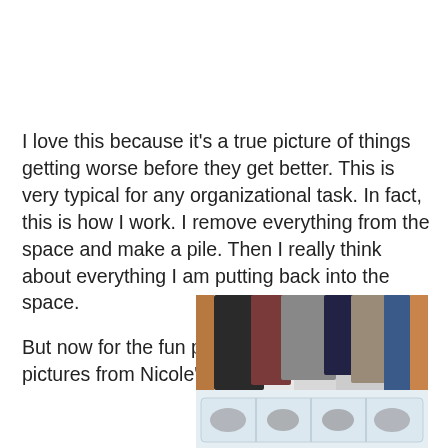I love this because it's a true picture of things getting worse before they get better.  This is very typical for any organizational task.  In fact, this is how I work.  I remove everything from the space and make a pile.  Then I really think about everything I am putting back into the space.

But now for the fun part.  Here are the after pictures from Nicole's project:
[Figure (photo): A closet after organization showing hanging clothes (dark, maroon, grey colors) and shoes arranged on the floor including pink boots and brown shoes, with a wooden closet frame visible]